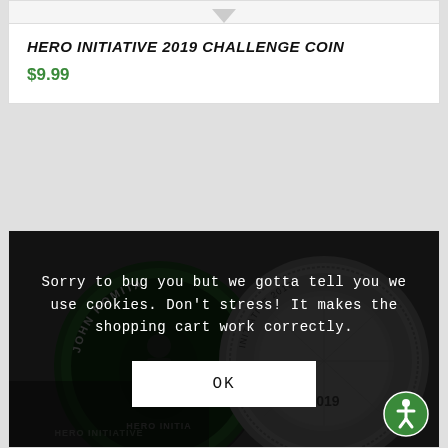HERO INITIATIVE 2019 CHALLENGE COIN
$9.99
[Figure (photo): Two challenge coins shown side by side. Left coin is green with 'JOHN ROMITA' text and Hero Initiative logo. Right coin is silver/metallic with embossed design and '2019' text.]
Sorry to bug you but we gotta tell you we use cookies. Don't stress! It makes the shopping cart work correctly.
OK